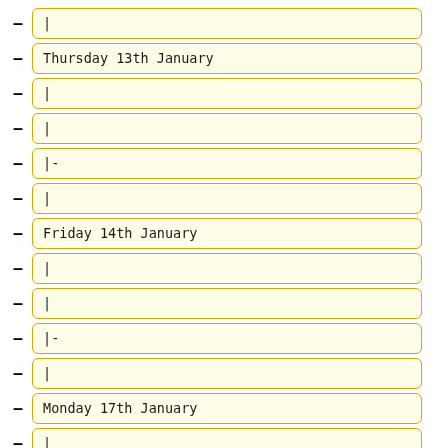|
Thursday 13th January
|
|
|-
|
Friday 14th January
|
|
|-
|
Monday 17th January
|